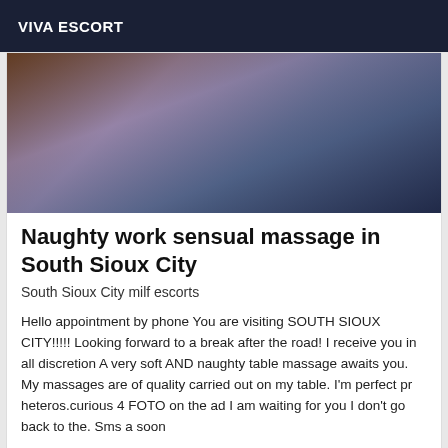VIVA ESCORT
[Figure (photo): Close-up photo with dark tones, brownish skin texture on left and soft blueish-purple misty background on right]
Naughty work sensual massage in South Sioux City
South Sioux City milf escorts
Hello appointment by phone You are visiting SOUTH SIOUX CITY!!!!! Looking forward to a break after the road! I receive you in all discretion A very soft AND naughty table massage awaits you. My massages are of quality carried out on my table. I'm perfect pr heteros.curious 4 FOTO on the ad I am waiting for you I don't go back to the. Sms a soon